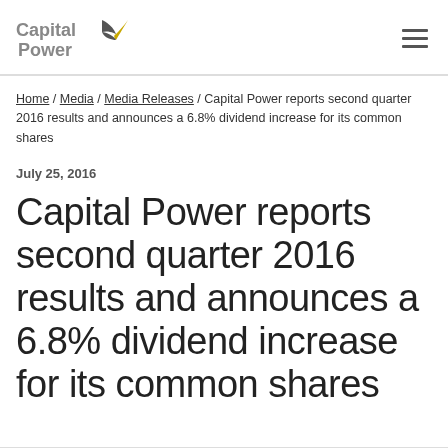Capital Power [logo] | hamburger menu
Home / Media / Media Releases / Capital Power reports second quarter 2016 results and announces a 6.8% dividend increase for its common shares
July 25, 2016
Capital Power reports second quarter 2016 results and announces a 6.8% dividend increase for its common shares